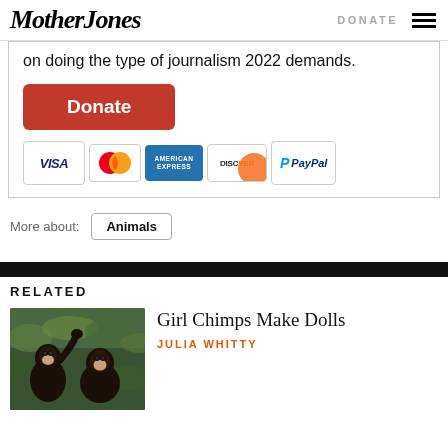Mother Jones | DONATE
on doing the type of journalism 2022 demands.
[Figure (other): Orange Donate button followed by payment method icons: VISA, MasterCard, American Express, Discover, PayPal]
More about: Animals
RELATED
[Figure (photo): Photo of two chimpanzees in green foliage]
Girl Chimps Make Dolls
JULIA WHITTY